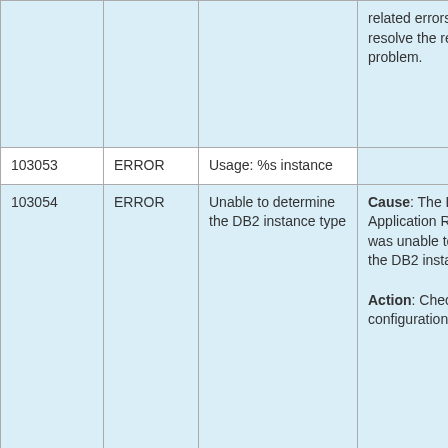|  |  |  |  |
| --- | --- | --- | --- |
|  |  |  | related errors and try to resolve the reported problem. |
| 103053 | ERROR | Usage: %s instance |  |
| 103054 | ERROR | Unable to determine the DB2 instance type | Cause: The DB2 Application Recovery Kit was unable to determine the DB2 instance type.

Action: Check your DB2 configuration. |
| 103055 | ERROR | LifeKeeper has | Cause: The DB2 |